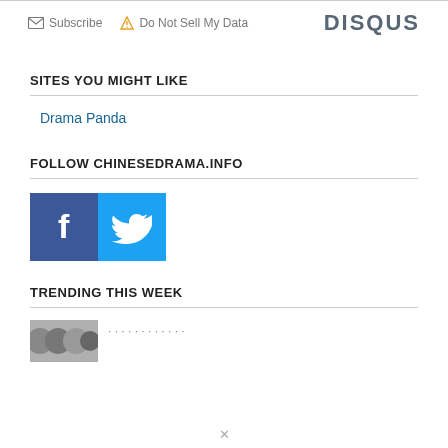Subscribe  Do Not Sell My Data   DISQUS
SITES YOU MIGHT LIKE
Drama Panda
FOLLOW CHINESEDRAMA.INFO
[Figure (logo): Facebook and Twitter social media icons]
TRENDING THIS WEEK
[Figure (photo): Thumbnail image for trending article, partially visible]